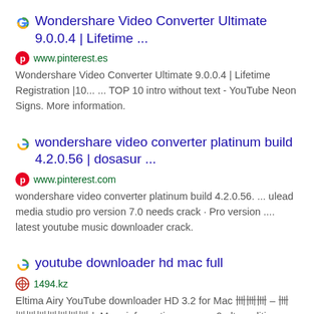Wondershare Video Converter Ultimate 9.0.0.4 | Lifetime ...
www.pinterest.es
Wondershare Video Converter Ultimate 9.0.0.4 | Lifetime Registration |10... ... TOP 10 intro without text - YouTube Neon Signs. More information.
wondershare video converter platinum build 4.2.0.56 | dosasur ...
www.pinterest.com
wondershare video converter platinum build 4.2.0.56. ... ulead media studio pro version 7.0 needs crack · Pro version .... latest youtube music downloader crack.
youtube downloader hd mac full
1494.kz
Eltima Airy YouTube downloader HD 3.2 for Mac 卌卌卌 – 卌卌卌卌卌卌卌卌 | . More information. ... nero 9 ultra edition 9.3.2.1 full new keygen